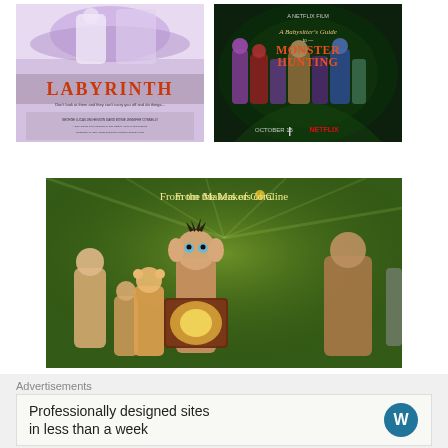[Figure (photo): Movie poster for Labyrinth (1986) featuring fantasy illustration with title text in red/orange]
[Figure (photo): Netflix movie poster for A Babysitter's Guide to Monster Hunting, October 15, showing group of characters on dark green background]
[Figure (photo): Animated movie poster for ParaNorman with tagline 'From the Makers of Coraline', showing animated boy reading a glowing book with other characters around him]
Advertisements
Professionally designed sites in less than a week